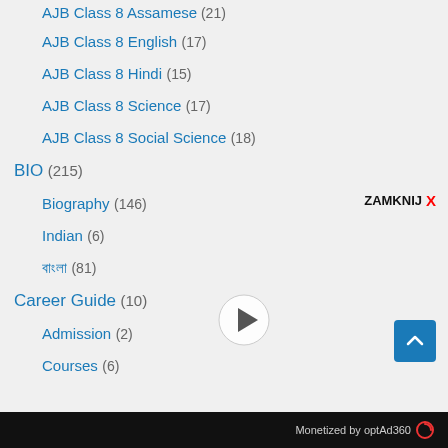AJB Class 8 Assamese (21)
AJB Class 8 English (17)
AJB Class 8 Hindi (15)
AJB Class 8 Science (17)
AJB Class 8 Social Science (18)
BIO (215)
Biography (146)
Indian (6)
বাংলা (81)
Career Guide (10)
Admission (2)
Courses (6)
Monetized by optAd360